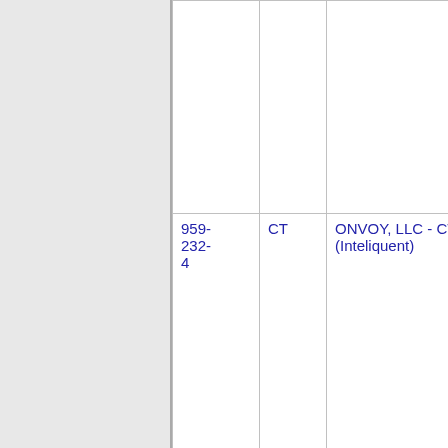| Number | State | Company | OCN |
| --- | --- | --- | --- |
|  |  |  |  |
| 959-232-4 | CT | ONVOY, LLC - CT (Inteliquent) | 639C |
| 959-232-5 | CT | ONVOY, LLC - CT (Inteliquent) | 639C |